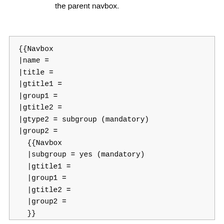the parent navbox.
{{Navbox
|name =
|title =
|gtitle1 =
|group1 =
|gtitle2 =
|gtype2 = subgroup (mandatory)
|group2 =
  {{Navbox
  |subgroup = yes (mandatory)
  |gtitle1 =
  |group1 =
  |gtitle2 =
  |group2 =
  }}